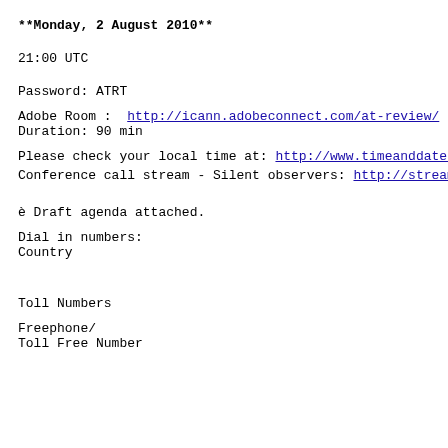**Monday, 2 August 2010**
21:00 UTC
Password: ATRT
Adobe Room :  http://icann.adobeconnect.com/at-review/
Duration: 90 min
Please check your local time at: http://www.timeanddate.c…
Conference call stream - Silent observers: http://stream…
è Draft agenda attached.
Dial in numbers:
Country
Toll Numbers
Freephone/
Toll Free Number